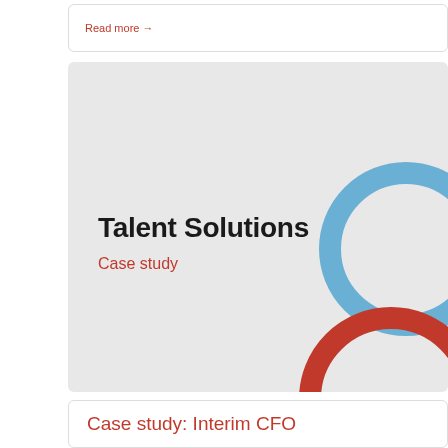Read more →
[Figure (illustration): Talent Solutions Case study card with grey background, blue circle outline top right, red circle outline bottom right, bold black title 'Talent Solutions' and red subtitle 'Case study']
Talent Solutions
Case study
Case study: Interim CFO